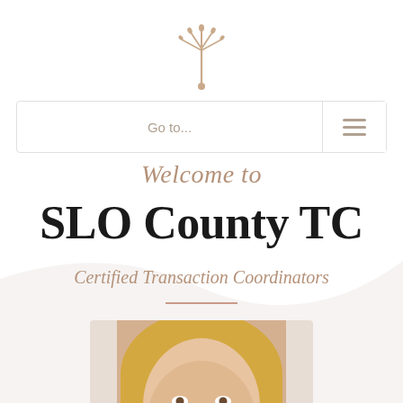[Figure (logo): Decorative fleur/fan-shaped logo icon in muted rose/tan color, centered at top of page]
[Figure (screenshot): Navigation bar with 'Go to...' placeholder text and hamburger menu icon on right]
Welcome to
SLO County TC
Certified Transaction Coordinators
[Figure (photo): Portrait photo of a smiling blonde woman, cropped at the bottom of the page]